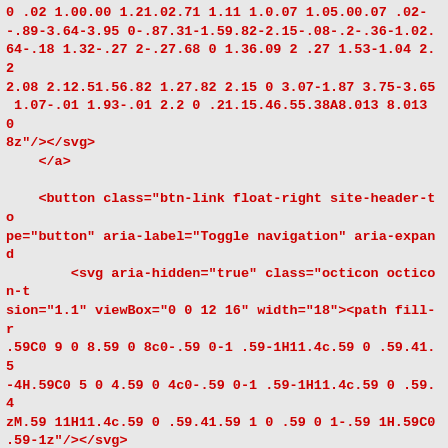0 .02 1.00.00 1.21.02.71 1.11 1.0.07 1.05.00.07 .02-.89-3.64-3.95 0-.87.31-1.59.82-2.15-.08-.2-.36-1.02.064-.18 1.32-.27 2-.27.68 0 1.36.09 2 .27 1.53-1.04 2.2.08 2.12.51.56.82 1.27.82 2.15 0 3.07-1.87 3.75-3.65 1.07-.01 1.93-.01 2.2 0 .21.15.46.55.38A8.013 8.013 08z"/></svg>
    </a>

    <button class="btn-link float-right site-header-tope="button" aria-label="Toggle navigation" aria-expand        <svg aria-hidden="true" class="octicon octicon-tsion="1.1" viewBox="0 0 12 16" width="18"><path fill-r.59C0 9 0 8.59 0 8c0-.59 0-1 .59-1H11.4c.59 0 .59.41.5-4H.59C0 5 0 4.59 0 4c0-.59 0-1 .59-1H11.4c.59 0 .59.4zM.59 11H11.4c.59 0 .59.41.59 1 0 .59 0 1-.59 1H.59C0.59-1z"/></svg>
    </button>

    <div class="site-header-menu">
      <nav class="site-header-nav">
        <a href="/features" class="js-selected-navigat-click="Header, click, Nav menu - item:features" data-/features/code-review /features/project-management /feres">
            Features
</a>          <a href="/business" class="js-selected-nava-ga-click="Header, click, Nav menu - item:business" dess /business/security /business/customers /business">
        Business